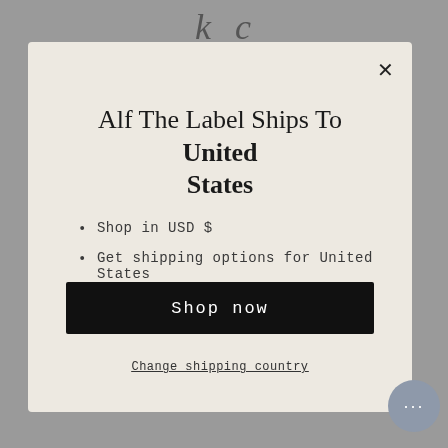[Figure (screenshot): Modal dialog popup on a website showing shipping information. Background is grey. Modal has a light beige/cream background.]
Alf The Label Ships To United States
Shop in USD $
Get shipping options for United States
Shop now
Change shipping country